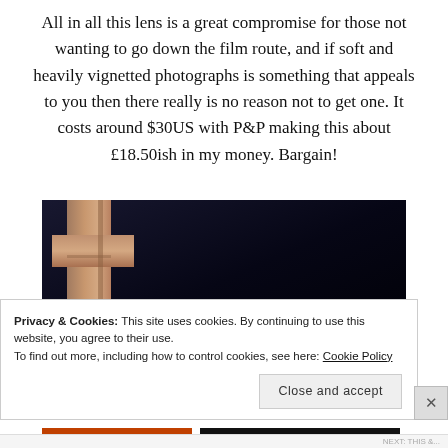All in all this lens is a great compromise for those not wanting to go down the film route, and if soft and heavily vignetted photographs is something that appeals to you then there really is no reason not to get one. It costs around $30US with P&P making this about £18.50ish in my money. Bargain!
[Figure (photo): A photograph showing what appears to be a wooden cross or lens mount against a very dark, near-black background.]
Privacy & Cookies: This site uses cookies. By continuing to use this website, you agree to their use.
To find out more, including how to control cookies, see here: Cookie Policy
Close and accept